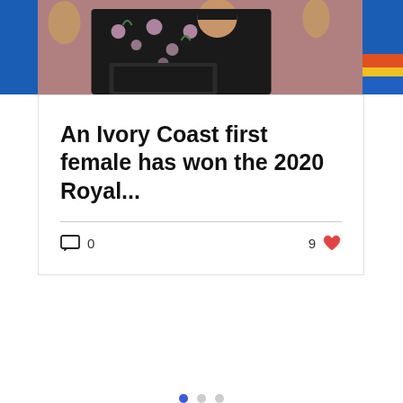[Figure (photo): Top portion showing a woman in a dark floral dress at what appears to be an event or ceremony, with left blue sliver and right partially visible image]
An Ivory Coast first female has won the 2020 Royal...
0 comments, 9 likes
[Figure (infographic): Carousel pagination dots: first dot filled blue, second and third empty grey circles]
[Figure (infographic): Single grey loading circle below separator line]